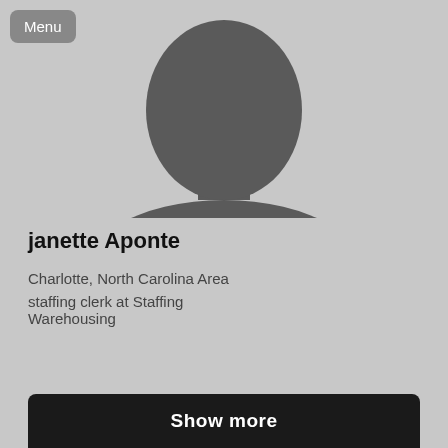[Figure (photo): Default silhouette placeholder profile photo showing a generic person outline in dark gray against a light gray background]
janette Aponte
Charlotte, North Carolina Area
staffing clerk at Staffing Warehousing
Show more